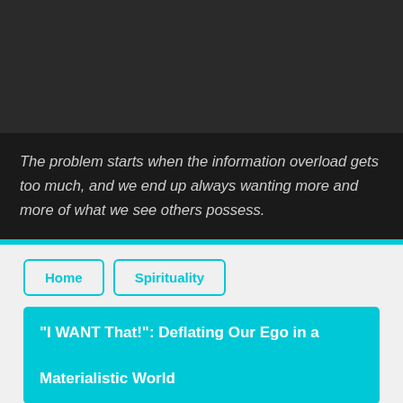[Figure (photo): Dark gray/charcoal area at the top of the page, likely an image background]
The problem starts when the information overload gets too much, and we end up always wanting more and more of what we see others possess.
Home
Spirituality
“I WANT That!”: Deflating Our Ego in a Materialistic World
A A A